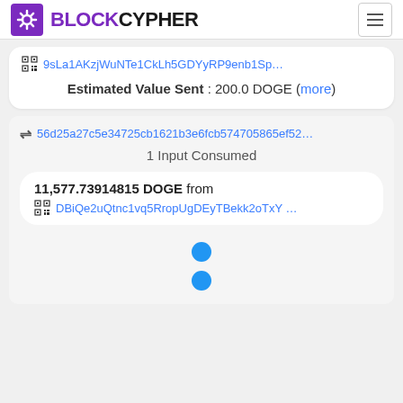BLOCKCYPHER
9sLa1AKzjWuNTe1CkLh5GDYyRP9enb1Sp...
Estimated Value Sent : 200.0 DOGE (more)
56d25a27c5e34725cb1621b3e6fcb574705865ef52...
1 Input Consumed
11,577.73914815 DOGE from
DBiQe2uQtnc1vq5RropUgDEyTBekk2oTxY ...